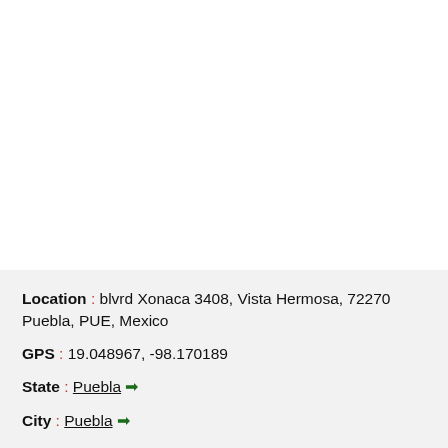Location : blvrd Xonaca 3408, Vista Hermosa, 72270 Puebla, PUE, Mexico
GPS : 19.048967, -98.170189
State : Puebla →
City : Puebla →